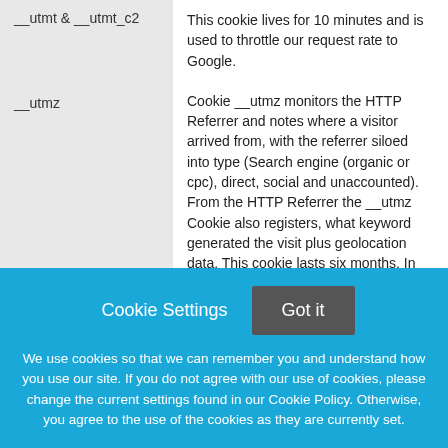| Cookie Name | Description |
| --- | --- |
| __utmt & __utmt_c2 | This cookie lives for 10 minutes and is used to throttle our request rate to Google. |
| __utmz | Cookie __utmz monitors the HTTP Referrer and notes where a visitor arrived from, with the referrer siloed into type (Search engine (organic or cpc), direct, social and unaccounted). From the HTTP Referrer the __utmz Cookie also registers, what keyword generated the visit plus geolocation data. This cookie lasts six months. In tracking terms this Cookie is perhaps the most important as it will tell you about your traffic and help with |
Cookie Settings   Got it
We use cookies so that we can remember you and understand how you use our site. If you do not agree with our use of cookies, please change the current settings found in our Cookie Policy. Otherwise, you agree to the use of the cookies as they are currently set.